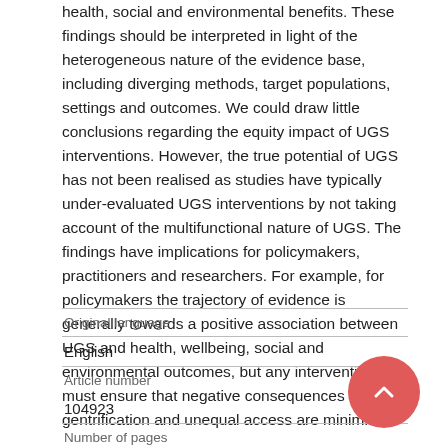health, social and environmental benefits. These findings should be interpreted in light of the heterogeneous nature of the evidence base, including diverging methods, target populations, settings and outcomes. We could draw little conclusions regarding the equity impact of UGS interventions. However, the true potential of UGS has not been realised as studies have typically under-evaluated UGS interventions by not taking account of the multifunctional nature of UGS. The findings have implications for policymakers, practitioners and researchers. For example, for policymakers the trajectory of evidence is generally towards a positive association between UGS and health, wellbeing, social and environmental outcomes, but any intervention must ensure that negative consequences of gentrification and unequal access are minimised.
| Original language |  |
| English |  |
| Article number |  |
| 104923 |  |
| Number of pages |  |